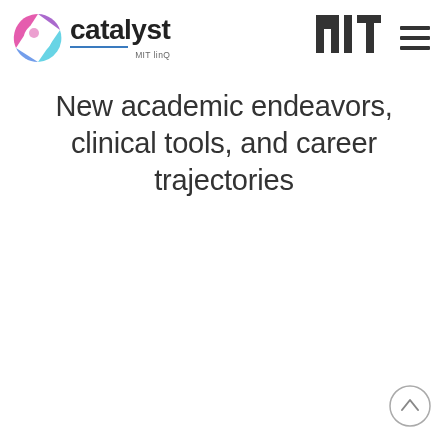[Figure (logo): Catalyst MIT linQ logo with colorful circle icon on left and text 'catalyst' with 'MIT linQ' below, blue underline beneath catalyst text]
[Figure (logo): MIT block letter logo in dark gray, bold tall serif-style block letters]
[Figure (other): Hamburger menu icon — three horizontal dark bars]
New academic endeavors, clinical tools, and career trajectories
[Figure (other): Back to top arrow button — circular outline with upward chevron]